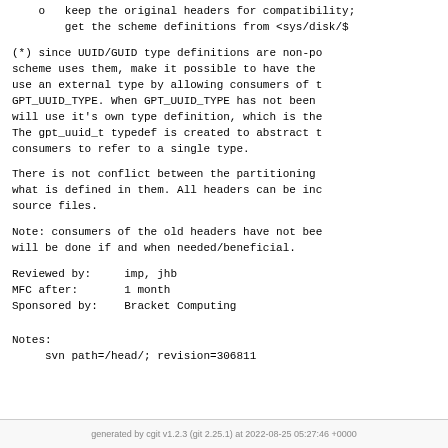o   keep the original headers for compatibility; get the scheme definitions from <sys/disk/$
(*) since UUID/GUID type definitions are non-po
scheme uses them, make it possible to have the
use an external type by allowing consumers of t
GPT_UUID_TYPE. When GPT_UUID_TYPE has not been
will use it's own type definition, which is the
The gpt_uuid_t typedef is created to abstract t
consumers to refer to a single type.
There is not conflict between the partitioning
what is defined in them. All headers can be inc
source files.
Note: consumers of the old headers have not bee
will be done if and when needed/beneficial.
Reviewed by:     imp, jhb
MFC after:       1 month
Sponsored by:    Bracket Computing
Notes:
     svn path=/head/; revision=306811
generated by cgit v1.2.3 (git 2.25.1) at 2022-08-25 05:27:46 +0000